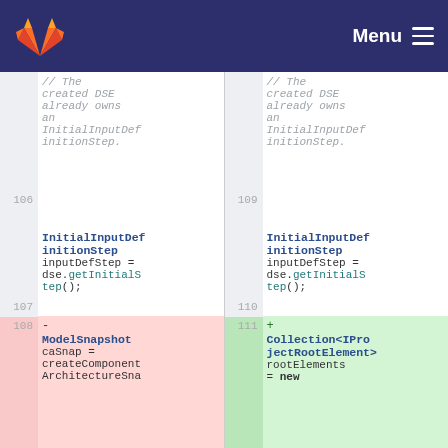[Figure (screenshot): GitLab navigation bar with logo and Menu button on dark blue background]
Code diff view showing two columns. Left side (old): line 106 blank, comment '// The created DSE already owns an InitialInputDefinitionStep.', line 107 blank, line 108 deleted with 'ModelSnapshot caSnap = createComponentArchitectureSna'. Right side (new): line 109 blank, same comment, line 110 blank, line 111 added with 'Collection<IProjectRootElement> rootElements = new'
InitialInputDefinitionStep inputDefStep = dse.getInitialStep();
Collection<IProjectRootElement> rootElements = new